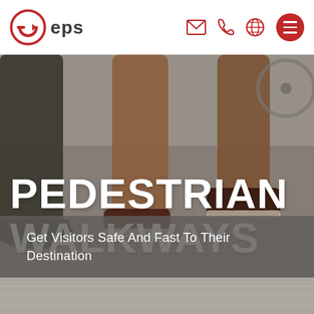eps | email | phone | globe | menu
[Figure (photo): Close-up photo of people walking on a textured pedestrian walkway, showing legs and feet wearing sneakers on a ribbed metal/concrete surface. A bicycle wheel is partially visible in the background.]
PEDESTRIAN WALKWAYS
Get Visitors Safe And Fast To Their Destination